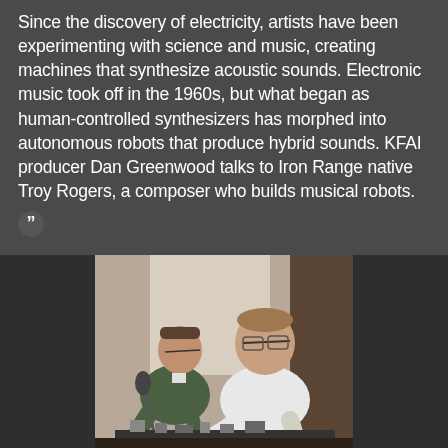Since the discovery of electricity, artists have been experimenting with science and music, creating machines that synthesize acoustic sounds. Electronic music took off in the 1960s, but what began as human-controlled synthesizers has morphed into autonomous robots that produce hybrid sounds. KFAI producer Dan Greenwood talks to Iron Range native Troy Rogers, a composer who builds musical robots.
[Figure (photo): Two men crouching over what appears to be electronic equipment or instruments on a table in a room, one wearing a green shirt with a name badge and one in a white shirt with glasses.]